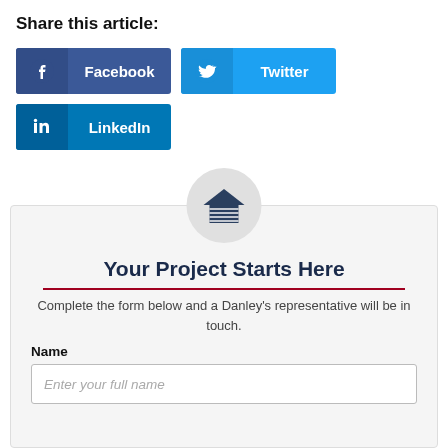Share this article:
[Figure (infographic): Social share buttons for Facebook, Twitter, and LinkedIn]
[Figure (infographic): Garage icon inside a grey circle above a contact form]
Your Project Starts Here
Complete the form below and a Danley's representative will be in touch.
Name
Enter your full name